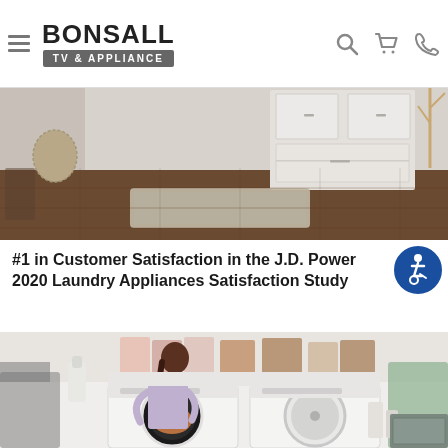Bonsall TV & Appliance — website header with logo, hamburger menu, search, cart, and phone icons
[Figure (photo): Interior laundry room scene showing white cabinetry, drawers, hardwood floor, and a beige area rug]
#1 in Customer Satisfaction in the J.D. Power 2020 Laundry Appliances Satisfaction Study
[Figure (photo): Woman loading laundry into a front-load washing machine in a bright, organized laundry room with shelving, towels, and a second dryer beside it]